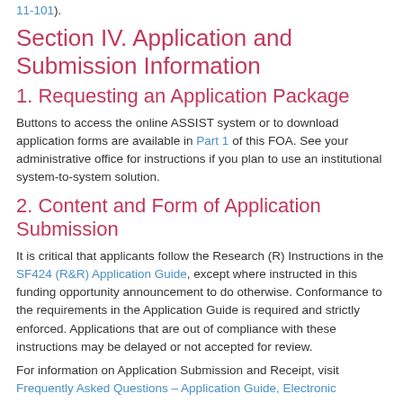11-101).
Section IV. Application and Submission Information
1. Requesting an Application Package
Buttons to access the online ASSIST system or to download application forms are available in Part 1 of this FOA. See your administrative office for instructions if you plan to use an institutional system-to-system solution.
2. Content and Form of Application Submission
It is critical that applicants follow the Research (R) Instructions in the SF424 (R&R) Application Guide, except where instructed in this funding opportunity announcement to do otherwise. Conformance to the requirements in the Application Guide is required and strictly enforced. Applications that are out of compliance with these instructions may be delayed or not accepted for review.
For information on Application Submission and Receipt, visit Frequently Asked Questions – Application Guide, Electronic